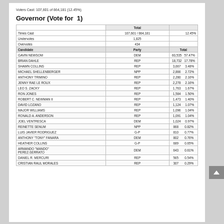Voters Cast: 107,601 of 864,181 (12.45%)
Governor (Vote for  1)
|  | Total |  |
| --- | --- | --- |
| Times Cast | 107,601 / 864,181 | 12.45% |
| Undervotes | 1,825 |  |
| Overvotes | 434 |  |
| Candidate | Party | Total |
| GAVIN NEWSOM | DEM | 60,535 | 57.47% |
| BRIAN DAHLE | REP | 18,732 | 17.78% |
| SHAWN COLLINS | REP | 3,667 | 3.48% |
| MICHAEL SHELLENBERGER | NPP | 2,866 | 2.72% |
| ANTHONY TRIMINO | REP | 2,280 | 2.16% |
| JENNY RAE LE ROUX | REP | 2,278 | 2.16% |
| LEO S. ZACKY | REP | 1,763 | 1.67% |
| RON JONES | REP | 1,584 | 1.50% |
| ROBERT C. NEWMAN II | REP | 1,473 | 1.40% |
| DAVID LOZANO | REP | 1,124 | 1.07% |
| MAJOR WILLIAMS | REP | 1,096 | 1.04% |
| RONALD A. ANDERSON | REP | 1,091 | 1.04% |
| JOEL VENTRESCA | DEM | 1,024 | 0.97% |
| REINETTE SENUM | NPP | 868 | 0.82% |
| LUIS JAVIER RODRIGUEZ | G-P | 810 | 0.77% |
| ANTHONY "TONY" FANARA | DEM | 802 | 0.76% |
| HEATHER COLLINS | G-P | 689 | 0.65% |
| ARMANDO "MANDO" PEREZ-SERRATO | DEM | 643 | 0.61% |
| DANIEL R. MERCURI | REP | 565 | 0.54% |
| CRISTIAN RAUL MORALES | REP | 307 | 0.29% |